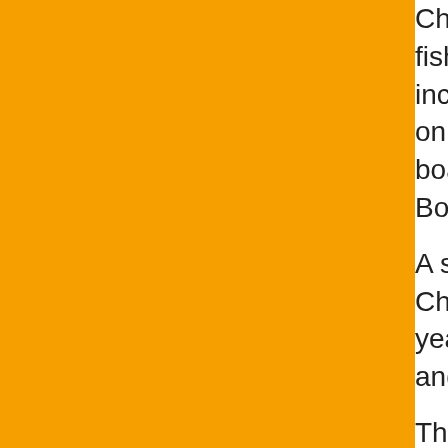Charters 4b , Capt. Pots said. On some days others, the fish were smaller. But some were jigging, smaller bass including some slots bi to have to be trolled. This was all on days w sail. Lots were read recently, but were reluc boat will begin blackfishing. It's that time of y charter? Book an individual spot with a char
A striped bass trip was slated for Sunday bu Charters</b>, Capt. Mike said. He hopes mo time of year when the fishing could be dropp be done aboard, and some dates are still av
The ocean was flat and weather was beauti was slow on the day's trip on the <b>Miss B from the party boat. Stripers caught that day off Highlands to Barnegat Inlet. It looked like season. The year's final stripers caught are lots of throwbacks and a few keepers were s some totaled seven to eight apiece. Sunday crew will decide whether the trips will fish thi ended for the year. When the trips fish, they through Sundays.
A few keeper and bonus stripers and lots of Saturday on the <b>Golden Eagle</b> on th boat's website. Mackerel were also caught a fish and saw bait with fish swirl on it. But onl eased in. Sunday's trip was weathered out,